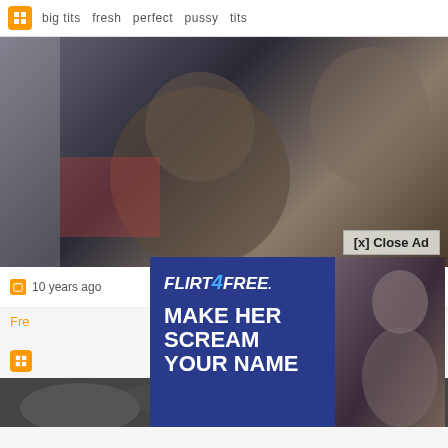big tits  fresh  perfect  pussy  tits
[Figure (screenshot): Video thumbnail showing blurred adult content scene]
[x] Close Ad
[Figure (advertisement): Flirt4Free popup advertisement with headline MAKE HER SCREAM YOUR NAME and GET 120 CREDITS FREE]
10 years ago
Fre
[Figure (screenshot): Bottom thumbnail of adult video content]